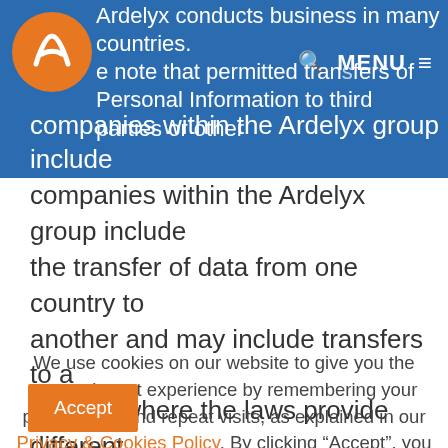Ardelyx conducts business in many countries. Please note that permitted transfers of Personal Information to third parties or other companies within the Ardelyx group include the transfer of data from one country to another and may include transfers to a country where the laws provide different
We use cookies on our website to give you the most relevant experience by remembering your preferences and repeat visits, as explained in our Privacy & Cookies Policy. By clicking “Accept”, you consent to the use of ALL the cookies.
Accept